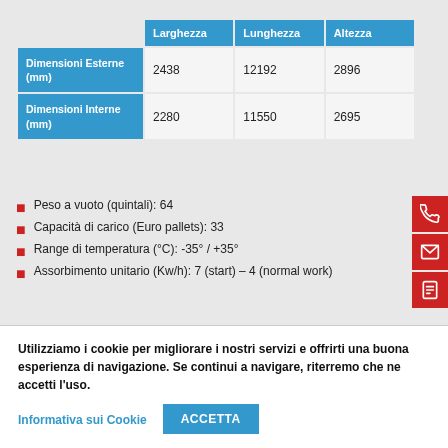|  | Larghezza | Lunghezza | Altezza |
| --- | --- | --- | --- |
| Dimensioni Esterne (mm) | 2438 | 12192 | 2896 |
| Dimensioni Interne (mm) | 2280 | 11550 | 2695 |
Peso a vuoto (quintali): 64
Capacità di carico (Euro pallets): 33
Range di temperatura (°C): -35° / +35°
Assorbimento unitario (Kw/h): 7 (start) – 4 (normal work)
Utilizziamo i cookie per migliorare i nostri servizi e offrirti una buona esperienza di navigazione. Se continui a navigare, riterremo che ne accetti l'uso.
Informativa sui Cookie   ACCETTA